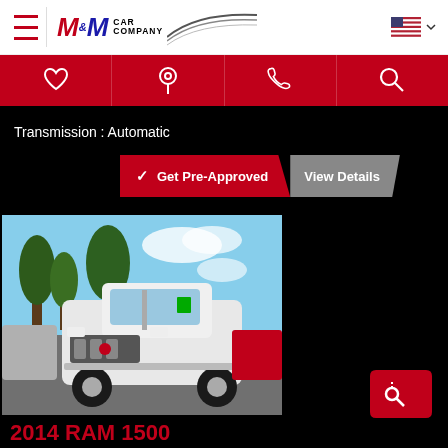[Figure (logo): M&M Car Company logo with red and blue stylized lettering and swoosh graphic]
[Figure (infographic): Red navigation bar with heart, location pin, phone, and search icons]
Transmission : Automatic
✓ Get Pre-Approved
View Details
[Figure (photo): White Ram 1500 pickup truck in a car dealership lot with trees and other vehicles visible]
2014 RAM 1500